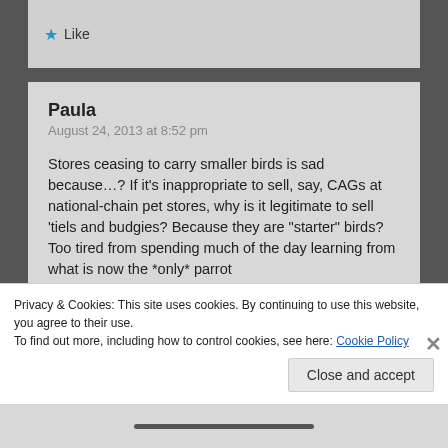Like
Paula
August 24, 2013 at 8:52 pm

Stores ceasing to carry smaller birds is sad because…? If it's inappropriate to sell, say, CAGs at national-chain pet stores, why is it legitimate to sell 'tiels and budgies? Because they are "starter" birds? Too tired from spending much of the day learning from what is now the *only* parrot adoption/rehoming/sanctuary facility in central Illinois to argue about the term
Privacy & Cookies: This site uses cookies. By continuing to use this website, you agree to their use.
To find out more, including how to control cookies, see here: Cookie Policy